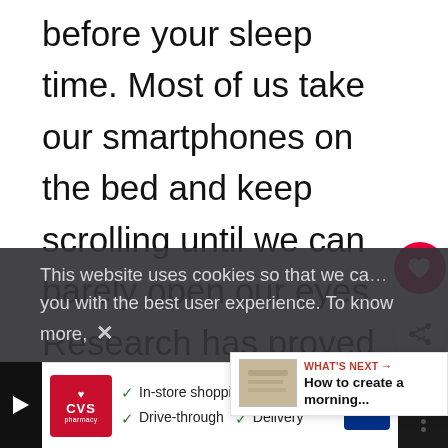before your sleep time. Most of us take our smartphones on the bed and keep scrolling until we can barely open our eyes. Research has proved that the blue light emitted by electronic devices interferes with our sleep.

So to get quality sleep, stop using your mobile devices at least an hour before
[Figure (screenshot): Cookie consent overlay bar with text: 'This website uses cookies so that we ca... you with the best user experience. To know more,' with close X button]
[Figure (screenshot): What's Next panel showing 'WHAT'S NEXT → How to create a morning...' with thumbnail image]
[Figure (screenshot): CVS Pharmacy advertisement banner with checkmarks for In-store shopping, Drive-through, and Delivery, plus navigation arrow icon]